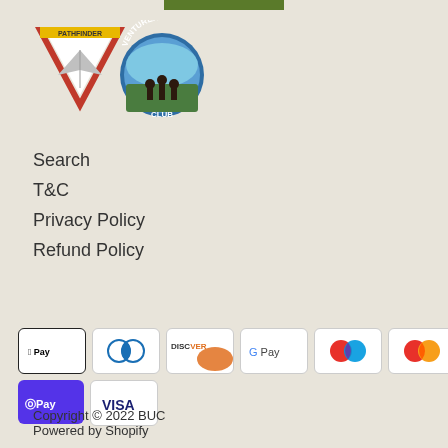[Figure (logo): Pathfinder and Venturer Club logos side by side]
Search
T&C
Privacy Policy
Refund Policy
[Figure (other): Payment method icons: Apple Pay, Diners Club, Discover, Google Pay, Mastercard (two variants), PayPal, Shop Pay, Visa]
Copyright © 2022 BUC
Powered by Shopify